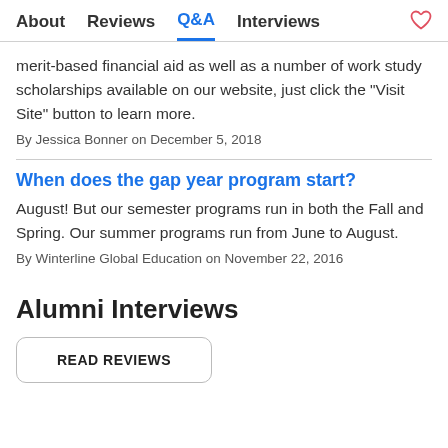About  Reviews  Q&A  Interviews
merit-based financial aid as well as a number of work study scholarships available on our website, just click the "Visit Site" button to learn more.
By Jessica Bonner on December 5, 2018
When does the gap year program start?
August! But our semester programs run in both the Fall and Spring. Our summer programs run from June to August.
By Winterline Global Education on November 22, 2016
Alumni Interviews
READ REVIEWS